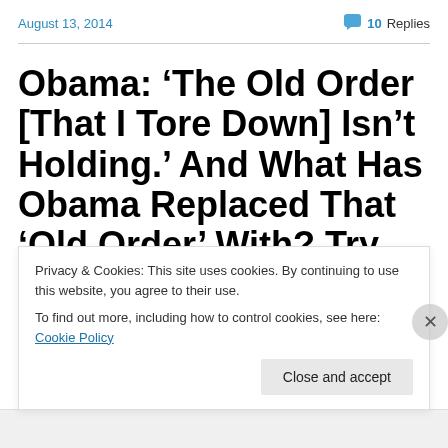August 13, 2014   💬 10 Replies
Obama: ‘The Old Order [That I Tore Down] Isn’t Holding.’ And What Has Obama Replaced That ‘Old Order’ With? Try 400 Fundraisers
Privacy & Cookies: This site uses cookies. By continuing to use this website, you agree to their use.
To find out more, including how to control cookies, see here: Cookie Policy
Close and accept